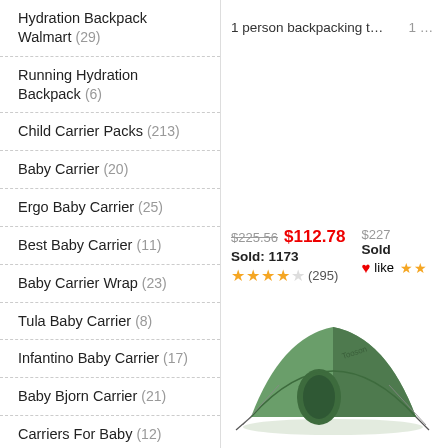Hydration Backpack Walmart (29)
Running Hydration Backpack (6)
Child Carrier Packs (213)
Baby Carrier (20)
Ergo Baby Carrier (25)
Best Baby Carrier (11)
Baby Carrier Wrap (23)
Tula Baby Carrier (8)
Infantino Baby Carrier (17)
Baby Bjorn Carrier (21)
Carriers For Baby (12)
Ergobaby Baby Carrier (24)
Baby Carrier Backpack (19)
Ergo Baby Carrier 360 (22)
Hiking Baby Carrier (11)
1 person backpacking tents
$225.56  $112.78  Sold: 1173  ★★★★☆(295)
[Figure (photo): Green dome backpacking tent product photo]
1 person backpacking tents